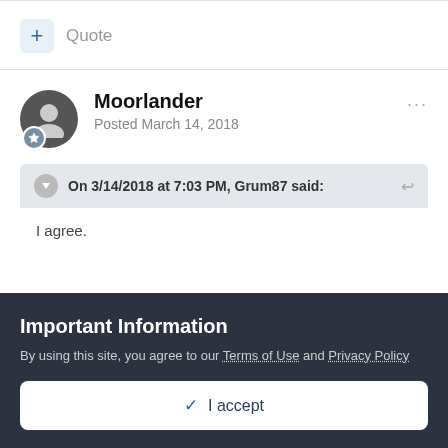+ Quote
Moorlander
Posted March 14, 2018
On 3/14/2018 at 7:03 PM, Grum87 said:
I agree.
Important Information
By using this site, you agree to our Terms of Use and Privacy Policy
✓ I accept